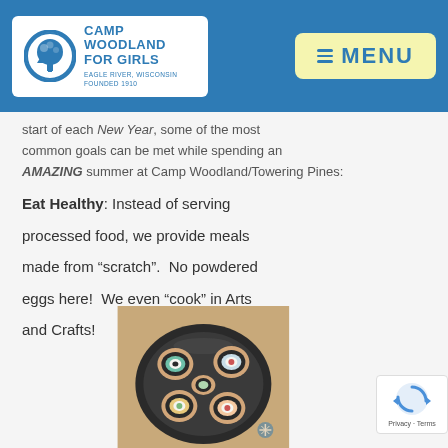Camp Woodland For Girls — Eagle River, Wisconsin — Founded 1910
start of each New Year, some of the most common goals can be met while spending an AMAZING summer at Camp Woodland/Towering Pines:
Eat Healthy: Instead of serving processed food, we provide meals made from "scratch".  No powdered eggs here!  We even "cook" in Arts and Crafts!
[Figure (photo): Arts and crafts food item made from clay/paint resembling a plate of sushi rolls, decorated with colorful toppings, displayed on a dark plate on a wooden surface. Camp Woodland logo watermark visible at bottom right.]